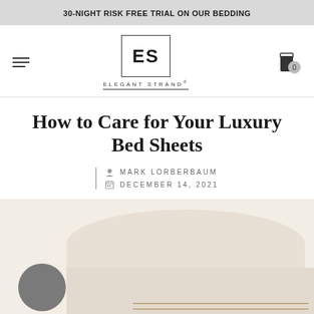30-NIGHT RISK FREE TRIAL ON OUR BEDDING
[Figure (logo): Elegant Strand logo: 'ES' in a bordered box above 'ELEGANT STRAND' text with underline]
How to Care for Your Luxury Bed Sheets
MARK LORBERBAUM
DECEMBER 14, 2021
[Figure (photo): Photo of white luxury bed sheets/pillows on a light beige background, with a dark gray circular element on the left]